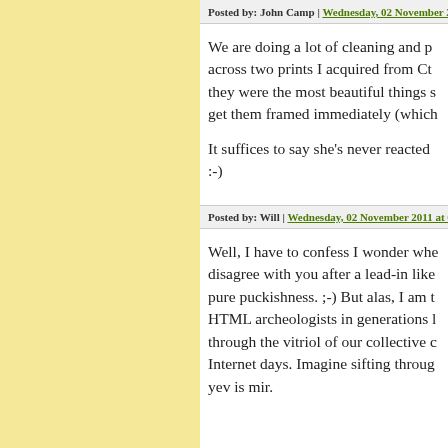Posted by: John Camp | Wednesday, 02 November 201…
We are doing a lot of cleaning and p… across two prints I acquired from Ct… they were the most beautiful things s… get them framed immediately (which…
It suffices to say she's never reacted … :-)
Posted by: Will | Wednesday, 02 November 2011 at 04:…
Well, I have to confess I wonder whe… disagree with you after a lead-in like… pure puckishness. ;-) But alas, I am t… HTML archeologists in generations l… through the vitriol of our collective c… Internet days. Imagine sifting throug… yev is mir.